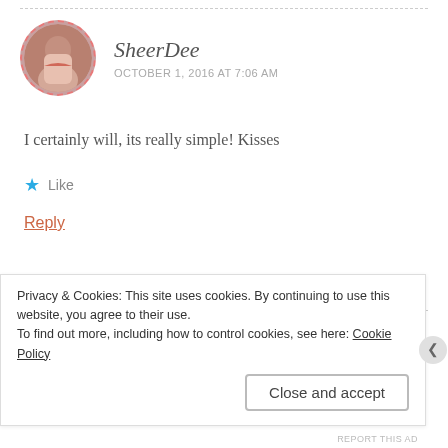SheerDee
OCTOBER 1, 2016 AT 7:06 AM
I certainly will, its really simple! Kisses
★ Like
Reply
Camilla || Jane Wonder
Privacy & Cookies: This site uses cookies. By continuing to use this website, you agree to their use.
To find out more, including how to control cookies, see here: Cookie Policy
Close and accept